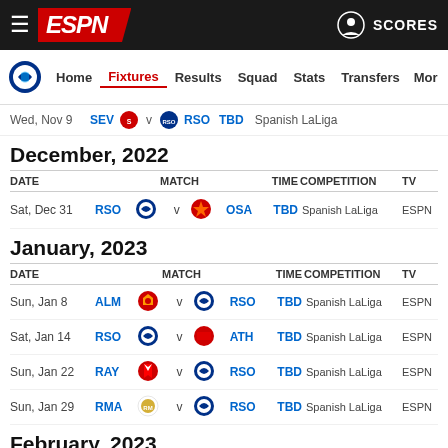ESPN header with hamburger menu, ESPN logo, person icon, SCORES
Real Sociedad navigation: Home | Fixtures | Results | Squad | Stats | Transfers | More
Wed, Nov 9 | SEV v RSO | TBD | Spanish LaLiga
December, 2022
| DATE | MATCH | TIME | COMPETITION | TV |
| --- | --- | --- | --- | --- |
| Sat, Dec 31 | RSO v OSA | TBD | Spanish LaLiga | ESPN |
January, 2023
| DATE | MATCH | TIME | COMPETITION | TV |
| --- | --- | --- | --- | --- |
| Sun, Jan 8 | ALM v RSO | TBD | Spanish LaLiga | ESPN |
| Sat, Jan 14 | RSO v ATH | TBD | Spanish LaLiga | ESPN |
| Sun, Jan 22 | RAY v RSO | TBD | Spanish LaLiga | ESPN |
| Sun, Jan 29 | RMA v RSO | TBD | Spanish LaLiga | ESPN |
February, 2023
| DATE | MATCH | TIME | COMPETITION | TV |
| --- | --- | --- | --- | --- |
| Sun, Feb 5 | RSO v VLL | TBD | Spanish LaLiga | ESPN |